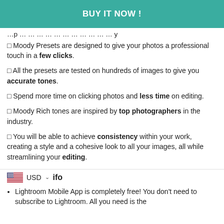BUY IT NOW !
...p ...y
✦ Moody Presets are designed to give your photos a professional touch in a few clicks.
✦ All the presets are tested on hundreds of images to give you accurate tones.
✦ Spend more time on clicking photos and less time on editing.
✦ Moody Rich tones are inspired by top photographers in the industry.
✦ You will be able to achieve consistency within your work, creating a style and a cohesive look to all your images, all while streamlining your editing.
🇺🇸 USD ∨ ifo
Lightroom Mobile App is completely free! You don't need to subscribe to Lightroom. All you need is the